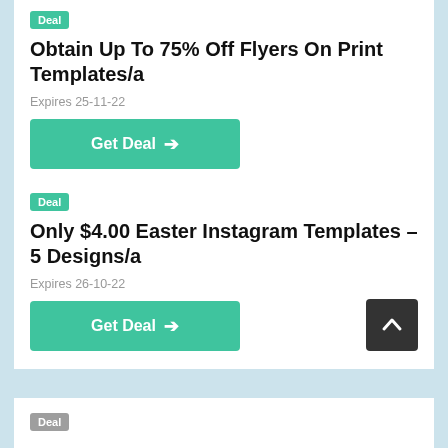Deal
Obtain Up To 75% Off Flyers On Print Templates/a
Expires 25-11-22
Get Deal →
Deal
Only $4.00 Easter Instagram Templates – 5 Designs/a
Expires 26-10-22
Get Deal →
Deal